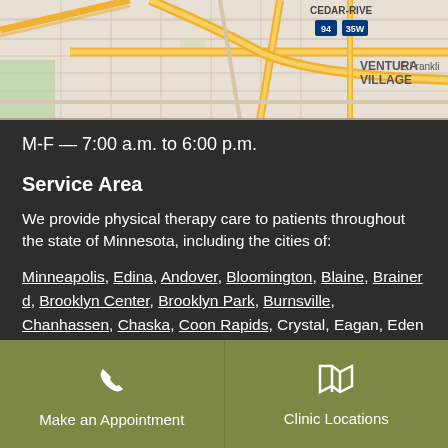[Figure (map): Street map showing Cedar-Riverside area in Minneapolis with highways 94 and 35W, Ventura Village label, E Franklin street label, and road network with orange/yellow roads on light background.]
M-F — 7:00 a.m. to 6:00 p.m.
Service Area
We provide physical therapy care to patients throughout the state of Minnesota, including the cities of:
Minneapolis, Edina, Andover, Bloomington, Blaine, Brainerd, Brooklyn Center, Brooklyn Park, Burnsville, Chanhassen, Chaska, Coon Rapids, Crystal, Eagan, Eden Prairie, Forest Lake, Golden...
Make an Appointment
Clinic Locations